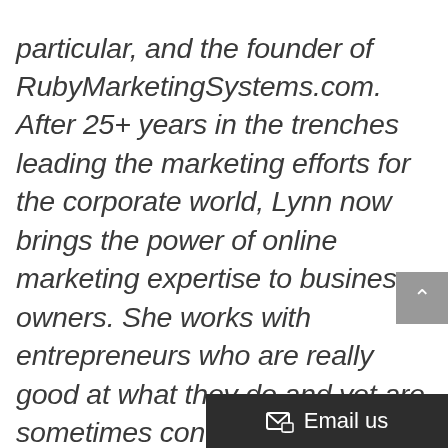particular, and the founder of RubyMarketingSystems.com. After 25+ years in the trenches leading the marketing efforts for the corporate world, Lynn now brings the power of online marketing expertise to business owners. She works with entrepreneurs who are really good at what they do and yet are sometimes confused, intimidated or downright skeptical of all the hype about online marketing.Lynn is an expert at easily explaining complicated technical and marketing strategies and systems in everyday, ordinary language so that business owners can